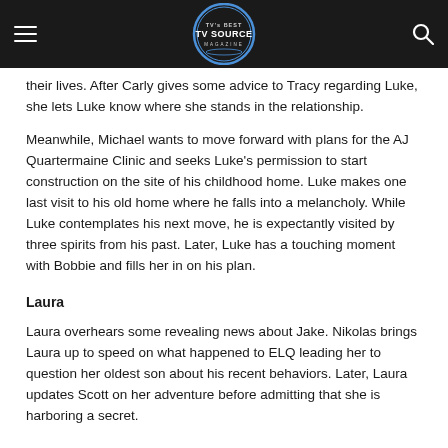TV Source Magazine header with hamburger menu and search icon
their lives. After Carly gives some advice to Tracy regarding Luke, she lets Luke know where she stands in their relationship.
Meanwhile, Michael wants to move forward with plans for the AJ Quartermaine Clinic and seeks Luke's permission to start construction on the site of his childhood home. Luke makes one last visit to his old home where he falls into a melancholy. While Luke contemplates his next move, he is expectantly visited by three spirits from his past. Later, Luke has a touching moment with Bobbie and fills her in on his plan.
Laura
Laura overhears some revealing news about Jake. Nikolas brings Laura up to speed on what happened to ELQ leading her to question her oldest son about his recent behaviors. Later, Laura updates Scott on her adventure before admitting that she is harboring a secret.